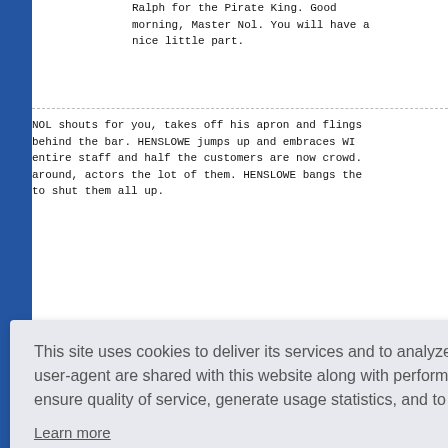Ralph for the Pirate King. Good morning, Master Nol. You will have a nice little part.
NOL shouts for you, takes off his apron and flings it behind the bar. HENSLOWE jumps up and embraces WI... entire staff and half the customers are now crowd... around, actors the lot of them. HENSLOWE bangs th... to shut them all up.
This site uses cookies to deliver its services and to analyze traffic. Your IP address and user-agent are shared with this website along with performance and security metrics to ensure quality of service, generate usage statistics, and to detect and address abuse.
Learn more
Got it!